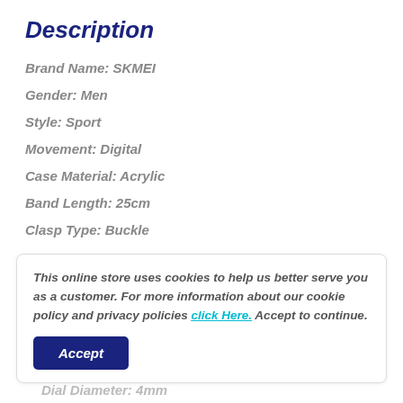Description
Brand Name: SKMEI
Gender: Men
Style: Sport
Movement: Digital
Case Material: Acrylic
Band Length: 25cm
Clasp Type: Buckle
This online store uses cookies to help us better serve you as a customer. For more information about our cookie policy and privacy policies click Here. Accept to continue.
Accept
Dial Diameter: 4mm